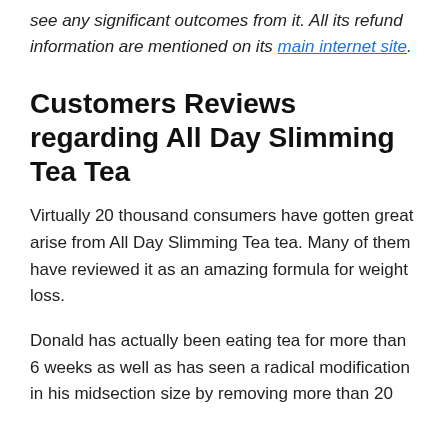see any significant outcomes from it. All its refund information are mentioned on its main internet site.
Customers Reviews regarding All Day Slimming Tea Tea
Virtually 20 thousand consumers have gotten great arise from All Day Slimming Tea tea. Many of them have reviewed it as an amazing formula for weight loss.
Donald has actually been eating tea for more than 6 weeks as well as has seen a radical modification in his midsection size by removing more than 20